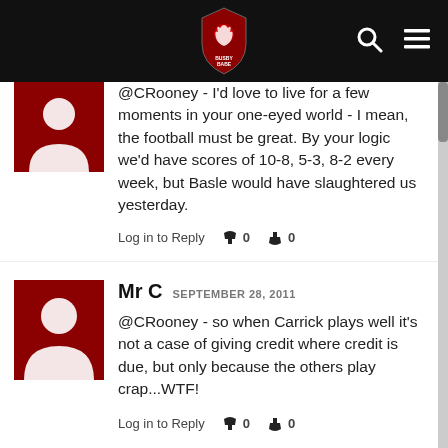Site header with logo, search icon, and menu icon
@CRooney - I'd love to live for a few moments in your one-eyed world - I mean, the football must be great. By your logic we'd have scores of 10-8, 5-3, 8-2 every week, but Basle would have slaughtered us yesterday.
Log in to Reply  👍 0  👎 0
Mr C  SEPTEMBER 28, 2011
@CRooney - so when Carrick plays well it's not a case of giving credit where credit is due, but only because the others play crap...WTF!
Log in to Reply  👍 0  👎 0